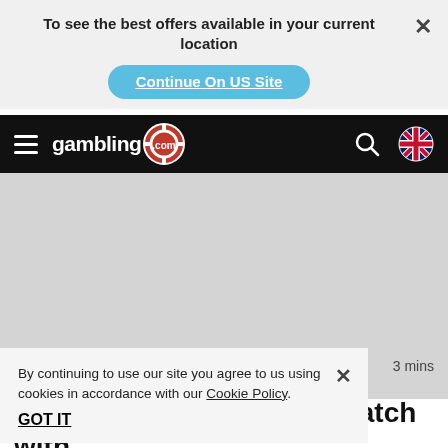To see the best offers available in your current location
Continue On US Site
[Figure (screenshot): gambling.com navigation bar with hamburger menu, logo with poker chip, search icon, and UK flag icon]
[Figure (other): Gray advertisement placeholder image]
By continuing to use our site you agree to us using cookies in accordance with our Cookie Policy.
GOT IT
3 mins
C... match with Mizzle in August